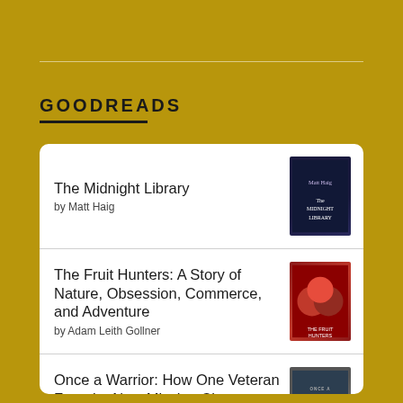GOODREADS
The Midnight Library by Matt Haig
The Fruit Hunters: A Story of Nature, Obsession, Commerce, and Adventure by Adam Leith Gollner
Once a Warrior: How One Veteran Found a New Mission Closer to Home by Jake Wood
The Anthropocene Reviewed by John Green